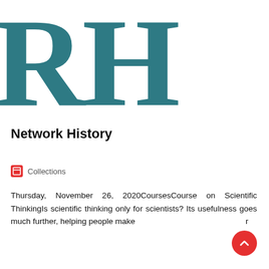[Figure (logo): Large stylized letters 'RH' in dark teal serif font, serving as a logo or masthead]
Network History
Collections
Thursday, November 26, 2020CoursesCourse on Scientific ThinkingIs scientific thinking only for scientists? Its usefulness goes much further, helping people make r